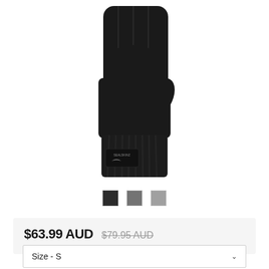[Figure (photo): Black knitted glove with SealSkinz brand label, photographed on white background, showing ribbed texture and wrist cuff area.]
[Figure (other): Three color swatches: black, dark gray, light gray]
$63.99 AUD  $79.95 AUD (strikethrough)
Size -  S